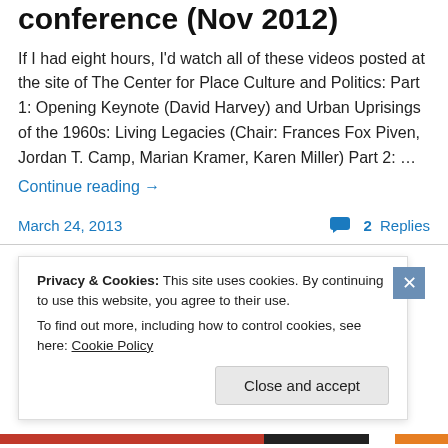conference (Nov 2012)
If I had eight hours, I'd watch all of these videos posted at the site of The Center for Place Culture and Politics: Part 1: Opening Keynote (David Harvey) and Urban Uprisings of the 1960s: Living Legacies (Chair: Frances Fox Piven, Jordan T. Camp, Marian Kramer, Karen Miller) Part 2: …
Continue reading →
March 24, 2013   2 Replies
Privacy & Cookies: This site uses cookies. By continuing to use this website, you agree to their use.
To find out more, including how to control cookies, see here: Cookie Policy
Close and accept